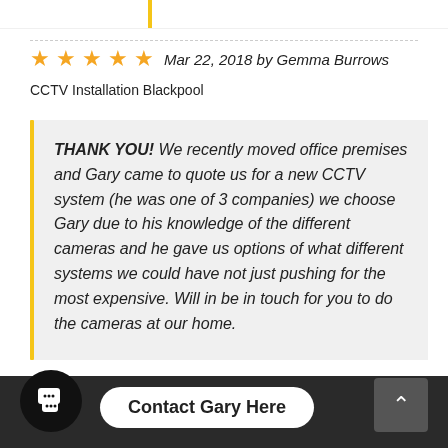★★★★★ Mar 22, 2018 by Gemma Burrows
CCTV Installation Blackpool
THANK YOU! We recently moved office premises and Gary came to quote us for a new CCTV system (he was one of 3 companies) we choose Gary due to his knowledge of the different cameras and he gave us options of what different systems we could have not just pushing for the most expensive. Will in be in touch for you to do the cameras at our home.
Contact Gary Here